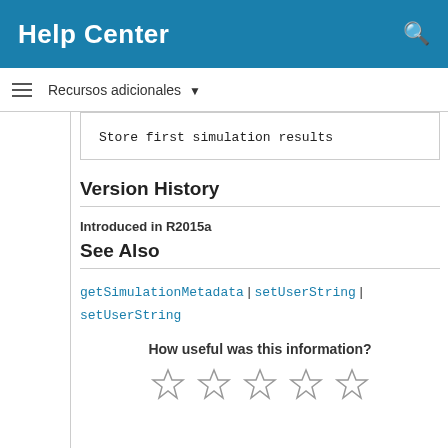Help Center
Recursos adicionales
Store first simulation results
Version History
Introduced in R2015a
See Also
getSimulationMetadata | setUserString | setUserString
How useful was this information?